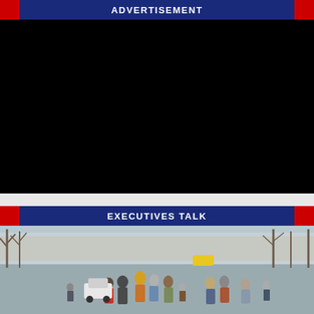ADVERTISEMENT
[Figure (other): Black advertisement placeholder rectangle]
EXECUTIVES TALK
[Figure (photo): People walking along a road with bare trees in winter, crowded scene with colorful coats, appears to be refugees or evacuees]